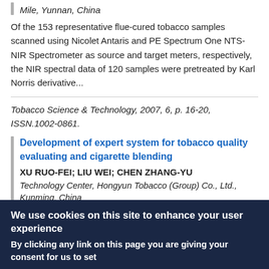Mile, Yunnan, China
Of the 153 representative flue-cured tobacco samples scanned using Nicolet Antaris and PE Spectrum One NTS-NIR Spectrometer as source and target meters, respectively, the NIR spectral data of 120 samples were pretreated by Karl Norris derivative...
Tobacco Science & Technology, 2007, 6, p. 16-20, ISSN.1002-0861.
Development of expert system for tobacco quality evaluating and cigarette blending
XU RUO-FEI; LIU WEI; CHEN ZHANG-YU
Technology Center, Hongyun Tobacco (Group) Co., Ltd., Kunming, China
In order to use tobacco leaf reasonably, adopting the method of combining information collecting and analyzing with sensory...
We use cookies on this site to enhance your user experience
By clicking any link on this page you are giving your consent for us to set